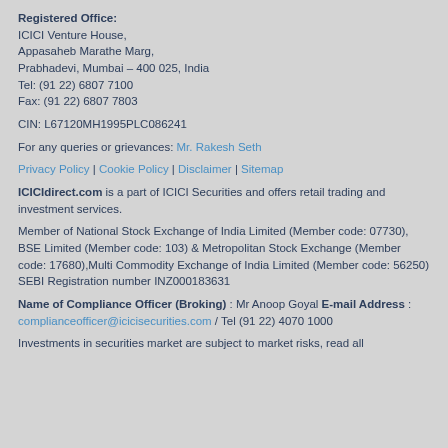Registered Office:
ICICI Venture House,
Appasaheb Marathe Marg,
Prabhadevi, Mumbai – 400 025, India
Tel: (91 22) 6807 7100
Fax: (91 22) 6807 7803
CIN: L67120MH1995PLC086241
For any queries or grievances: Mr. Rakesh Seth
Privacy Policy | Cookie Policy | Disclaimer | Sitemap
ICICIdirect.com is a part of ICICI Securities and offers retail trading and investment services.
Member of National Stock Exchange of India Limited (Member code: 07730), BSE Limited (Member code: 103) & Metropolitan Stock Exchange (Member code: 17680),Multi Commodity Exchange of India Limited (Member code: 56250) SEBI Registration number INZ000183631
Name of Compliance Officer (Broking) : Mr Anoop Goyal E-mail Address : complianceofficer@icicisecurities.com / Tel (91 22) 4070 1000
Investments in securities market are subject to market risks, read all